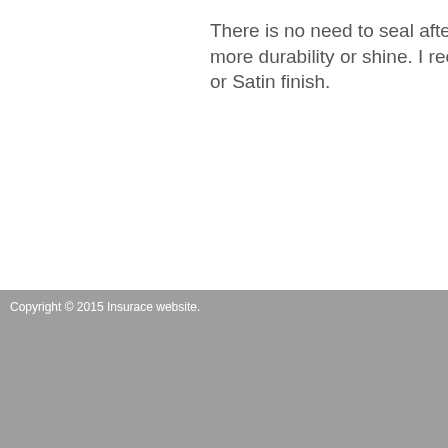There is no need to seal after more durability or shine. I reco or Satin finish.
Copyright © 2015 Insurace website.